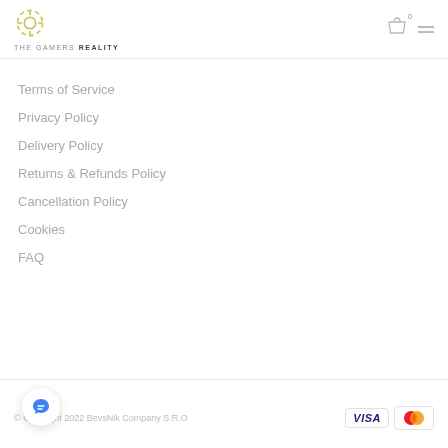THE GAMERS REALITY
Terms of Service
Privacy Policy
Delivery Policy
Returns & Refunds Policy
Cancellation Policy
Cookies
FAQ
© Copyright 2022 BevsNik Company S.R.O